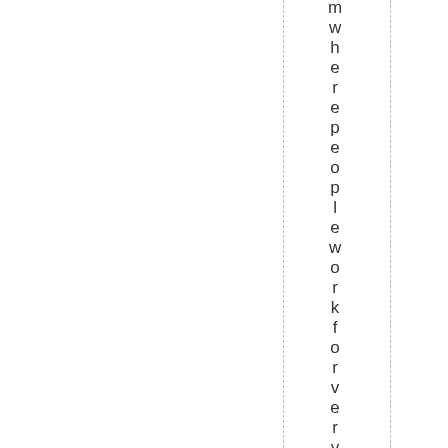m w h e r e p e o p l e w o r k f o r v e r y l o n g h o u r